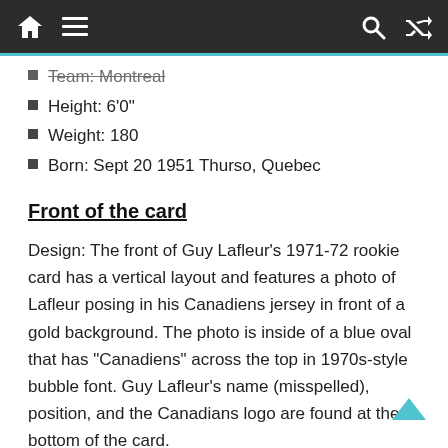Navigation bar with home, menu, search, and shuffle icons
Team: Montreal
Height: 6'0"
Weight: 180
Born: Sept 20 1951 Thurso, Quebec
Front of the card
Design: The front of Guy Lafleur’s 1971-72 rookie card has a vertical layout and features a photo of Lafleur posing in his Canadiens jersey in front of a gold background. The photo is inside of a blue oval that has “Candiens” across the top in 1970s-style bubble font. Guy Lafleur’s name (misspelled), position, and the Canadians logo are found at the bottom of the card.